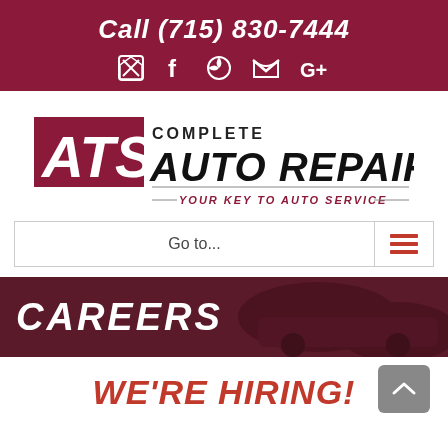Call (715) 830-7444
[Figure (logo): Social media icons: email/review, Facebook, Yelp, Twitter, Google+]
[Figure (logo): ATS Complete Auto Repair logo — YOUR KEY TO AUTO SERVICE]
Go to...
CAREERS
WE'RE HIRING!